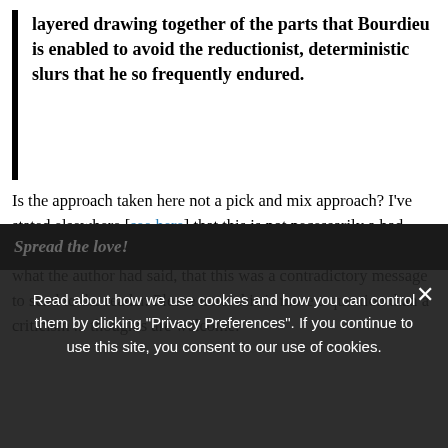layered drawing together of the parts that Bourdieu is enabled to avoid the reductionist, deterministic slurs that he so frequently endured.
Is the approach taken here not a pick and mix approach? I've stated elsewhere [see here] that this is not necessarily a bad thing in itself (not in the slightest), but wasn't sure if, given what the author had said, that this was a contradictory message to send to the reader. Please note: this is more a question than a criticism ... thoughts are welcome.
Spread the love!
Read about how we use cookies and how you can control them by clicking "Privacy Preferences". If you continue to use this site, you consent to our use of cookies.